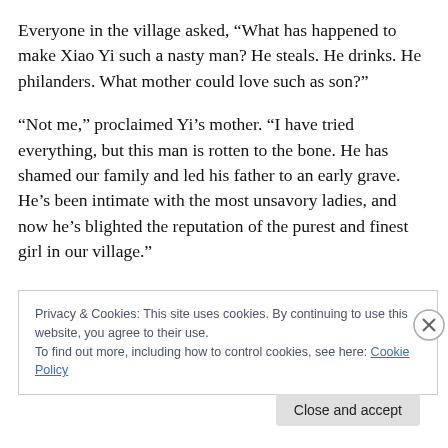Everyone in the village asked, “What has happened to make Xiao Yi such a nasty man? He steals. He drinks. He philanders. What mother could love such as son?”
“Not me,” proclaimed Yi’s mother. “I have tried everything, but this man is rotten to the bone. He has shamed our family and led his father to an early grave. He’s been intimate with the most unsavory ladies, and now he’s blighted the reputation of the purest and finest girl in our village.”
Privacy & Cookies: This site uses cookies. By continuing to use this website, you agree to their use.
To find out more, including how to control cookies, see here: Cookie Policy